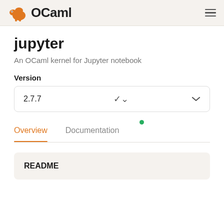OCaml
jupyter
An OCaml kernel for Jupyter notebook
Version
2.7.7
Overview  Documentation
README